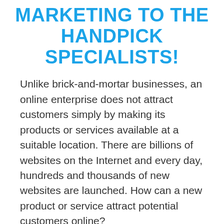MARKETING TO THE HANDPICK SPECIALISTS!
Unlike brick-and-mortar businesses, an online enterprise does not attract customers simply by making its products or services available at a suitable location. There are billions of websites on the Internet and every day, hundreds and thousands of new websites are launched. How can a new product or service attract potential customers online?
You need to either 'find' your